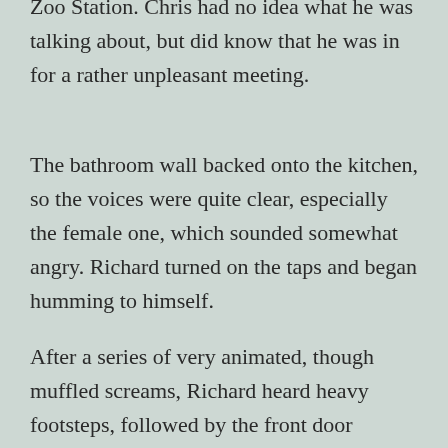Zoo Station. Chris had no idea what he was talking about, but did know that he was in for a rather unpleasant meeting.
The bathroom wall backed onto the kitchen, so the voices were quite clear, especially the female one, which sounded somewhat angry. Richard turned on the taps and began humming to himself.
After a series of very animated, though muffled screams, Richard heard heavy footsteps, followed by the front door slamming shut.